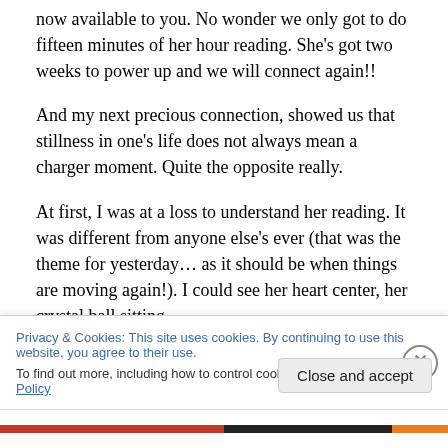now available to you.  No wonder we only got to do fifteen minutes of her hour reading.  She's got two weeks to power up and we will connect again!!
And my next precious connection, showed us that stillness in one's life does not always mean a charger moment.  Quite the opposite really.
At first, I was at a loss to understand her reading.  It was different from anyone else's ever (that was the theme for yesterday… as it should be when things are moving again!).  I could see her heart center, her crystal ball sitting
Privacy & Cookies: This site uses cookies. By continuing to use this website, you agree to their use.
To find out more, including how to control cookies, see here: Cookie Policy
Close and accept